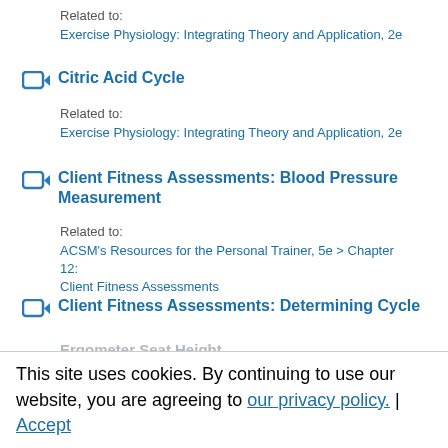Related to:
Exercise Physiology: Integrating Theory and Application, 2e
Citric Acid Cycle
Related to:
Exercise Physiology: Integrating Theory and Application, 2e
Client Fitness Assessments: Blood Pressure Measurement
Related to:
ACSM's Resources for the Personal Trainer, 5e > Chapter 12: Client Fitness Assessments
Client Fitness Assessments: Determining Cycle Ergometer Seat Height
This site uses cookies. By continuing to use our website, you are agreeing to our privacy policy. | Accept